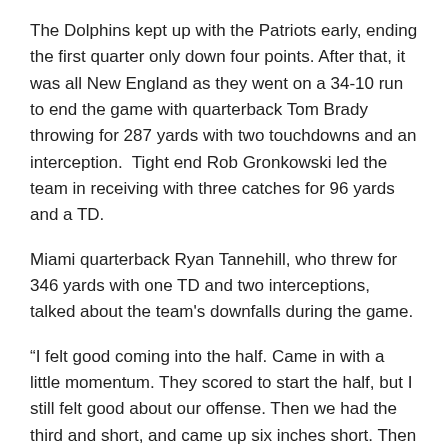The Dolphins kept up with the Patriots early, ending the first quarter only down four points. After that, it was all New England as they went on a 34-10 run to end the game with quarterback Tom Brady throwing for 287 yards with two touchdowns and an interception.  Tight end Rob Gronkowski led the team in receiving with three catches for 96 yards and a TD.
Miami quarterback Ryan Tannehill, who threw for 346 yards with one TD and two interceptions, talked about the team's downfalls during the game.
“I felt good coming into the half. Came in with a little momentum. They scored to start the half, but I still felt good about our offense. Then we had the third and short, and came up six inches short. Then the next drive we had the pick where Lamar [Miller] got hit in the back, so it was kind of frustrating. Then they’re scoring points and you’re just not going to win.”
Next week, the Dolphins take on the Minnesota Vikings (6-8) at home as they try and salvage any playoff hopes, while the